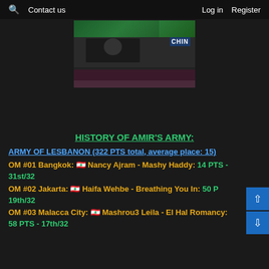🔍 Contact us   Log in  Register
[Figure (photo): Photo of people at a conference table with a 'CHIN' (China) nameplate visible, dark background]
HISTORY OF AMIR'S ARMY:
ARMY OF LESBANON (322 PTS total, average place: 15)
OM #01 Bangkok: 🇱🇧 Nancy Ajram - Mashy Haddy: 14 PTS - 31st/32
OM #02 Jakarta: 🇱🇧 Haifa Wehbe - Breathing You In: 50 PTS - 19th/32
OM #03 Malacca City: 🇱🇧 Mashrou3 Leila - El Hal Romancy: 58 PTS - 17th/32